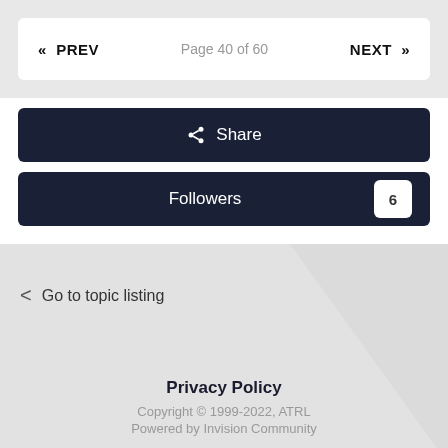« PREV   Page 40 of 60   NEXT »
Share
Followers 6
< Go to topic listing
Privacy Policy
Copyright © 1999-2022, ATRL
Powered by Invision Community